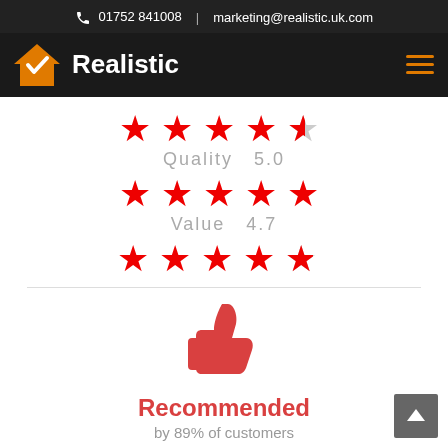📞 01752 841008  |  marketing@realistic.uk.com
[Figure (logo): Realistic company logo with orange house icon and white text on dark background, with hamburger menu icon]
[Figure (infographic): Star rating row: 4.5 stars (red stars with half grey star)]
Quality  5.0
[Figure (infographic): Star rating row: 5.0 stars (all red stars)]
Value  4.7
[Figure (infographic): Star rating row: 4.7 stars (red stars with partial last star)]
[Figure (infographic): Red thumbs up icon]
Recommended
by 89% of customers